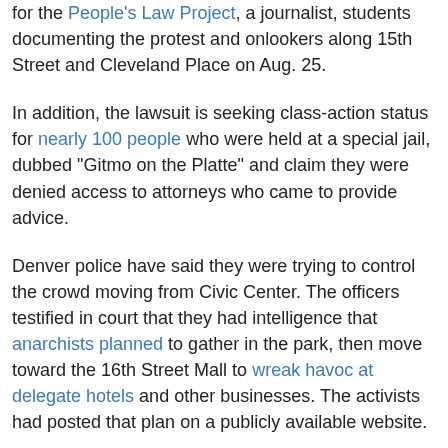for the People's Law Project, a journalist, students documenting the protest and onlookers along 15th Street and Cleveland Place on Aug. 25.
In addition, the lawsuit is seeking class-action status for nearly 100 people who were held at a special jail, dubbed "Gitmo on the Platte" and claim they were denied access to attorneys who came to provide advice.
Denver police have said they were trying to control the crowd moving from Civic Center. The officers testified in court that they had intelligence that anarchists planned to gather in the park, then move toward the 16th Street Mall to wreak havoc at delegate hotels and other businesses. The activists had posted that plan on a publicly available website.
It all seems so long ago.